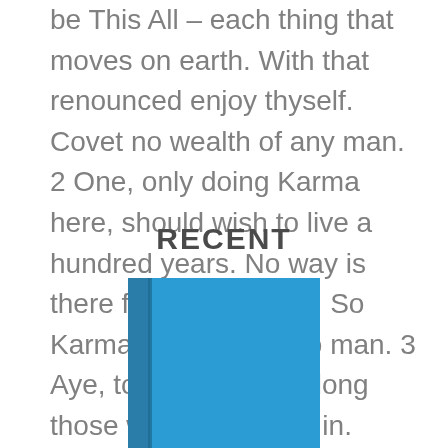be This All – each thing that moves on earth. With that renounced enjoy thyself. Covet no wealth of any man. 2 One, only doing Karma here, should wish to live a hundred years. No way is there for thee but this. So Karma cleaveth not to man. 3 Aye, to the Asuras belong those worlds enwrapt in.
RECENT
[Figure (illustration): A book illustration showing a blue hardcover book with a darker spine, viewed at a slight angle.]